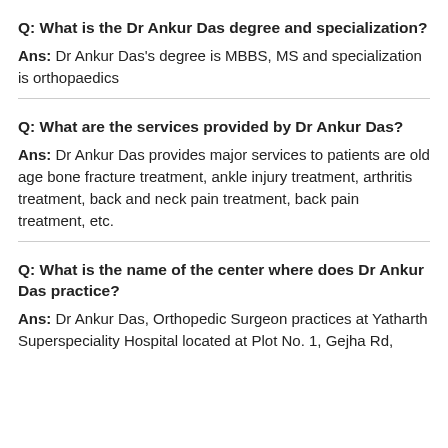Q: What is the Dr Ankur Das degree and specialization?
Ans: Dr Ankur Das's degree is MBBS, MS and specialization is orthopaedics
Q: What are the services provided by Dr Ankur Das?
Ans: Dr Ankur Das provides major services to patients are old age bone fracture treatment, ankle injury treatment, arthritis treatment, back and neck pain treatment, back pain treatment, etc.
Q: What is the name of the center where does Dr Ankur Das practice?
Ans: Dr Ankur Das, Orthopedic Surgeon practices at Yatharth Superspeciality Hospital located at Plot No. 1, Gejha Rd,